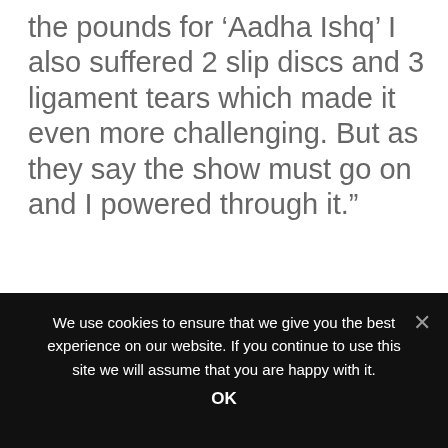the pounds for ‘Aadha Ishq’ I also suffered 2 slip discs and 3 ligament tears which made it even more challenging. But as they say the show must go on and I powered through it.”
[Figure (other): Three social media icons: Facebook (blue with white f), Twitter (light blue with white bird), Instagram (retro camera icon with colorful lens)]
#ADHA ISHQ  #ASUR  #GAURAV ARORA
We use cookies to ensure that we give you the best experience on our website. If you continue to use this site we will assume that you are happy with it.
OK